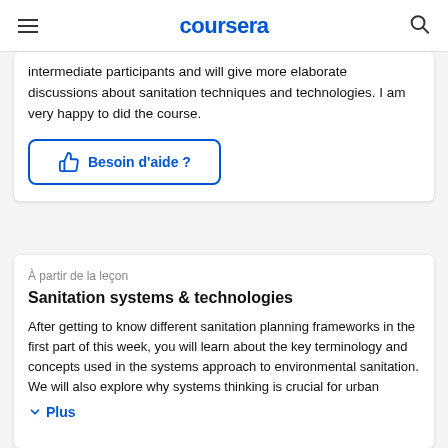coursera
intermediate participants and will give more elaborate discussions about sanitation techniques and technologies. I am very happy to did the course.
Besoin d'aide ?
À partir de la leçon
Sanitation systems & technologies
After getting to know different sanitation planning frameworks in the first part of this week, you will learn about the key terminology and concepts used in the systems approach to environmental sanitation. We will also explore why systems thinking is crucial for urban
Plus